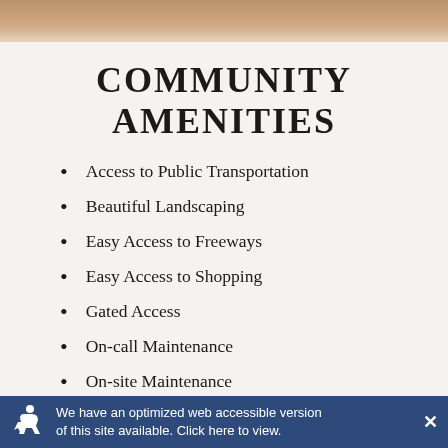[Figure (photo): Decorative wood/stone photo bar at top of page]
COMMUNITY AMENITIES
Access to Public Transportation
Beautiful Landscaping
Easy Access to Freeways
Easy Access to Shopping
Gated Access
On-call Maintenance
On-site Maintenance
We have an optimized web accessible version of this site available. Click here to view.